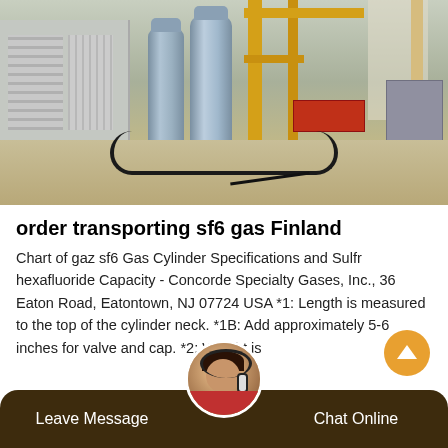[Figure (photo): Gas cylinders and yellow scaffold equipment outdoors. Two gray SF6 gas cylinders are visible on the left, a yellow metal scaffold/cart structure is on the right, with cables on the floor and an AC unit on the far left wall.]
order transporting sf6 gas Finland
Chart of gaz sf6 Gas Cylinder Specifications and Sulfr hexafluoride Capacity - Concorde Specialty Gases, Inc., 36 Eaton Road, Eatontown, NJ 07724 USA *1: Length is measured to the top of the cylinder neck. *1B: Add approximately 5-6 inches for valve and cap. *2: Weight is
[Figure (photo): Customer service avatar: woman with headset microphone]
Leave Message
Chat Online